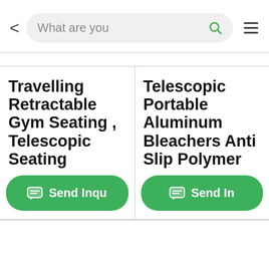[Figure (screenshot): Mobile app search bar with back arrow, search input showing 'What are you', magnifier icon, and hamburger menu icon]
Travelling Retractable Gym Seating , Telescopic Seating
Telescopic Portable Aluminum Bleachers Anti Slip Polymer
Send Inqu
Send In